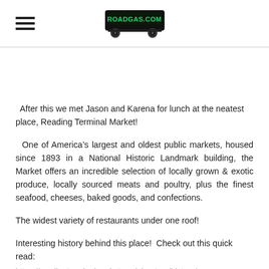ROADGAS.COM (logo/header)
After this we met Jason and Karena for lunch at the neatest place, Reading Terminal Market!
One of America’s largest and oldest public markets, housed since 1893 in a National Historic Landmark building, the Market offers an incredible selection of locally grown & exotic produce, locally sourced meats and poultry, plus the finest seafood, cheeses, baked goods, and confections.
The widest variety of restaurants under one roof!
Interesting history behind this place!  Check out this quick read:
https://readingterminalmarket.org/about-us/history/